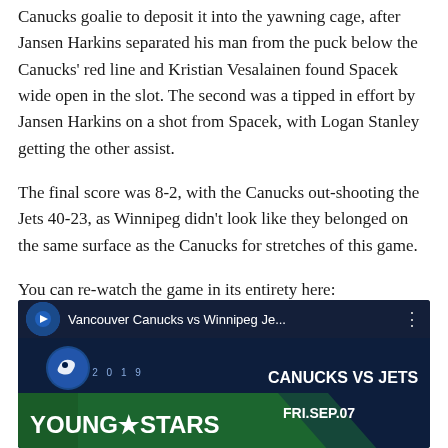Canucks goalie to deposit it into the yawning cage, after Jansen Harkins separated his man from the puck below the Canucks' red line and Kristian Vesalainen found Spacek wide open in the slot. The second was a tipped in effort by Jansen Harkins on a shot from Spacek, with Logan Stanley getting the other assist.
The final score was 8-2, with the Canucks out-shooting the Jets 40-23, as Winnipeg didn't look like they belonged on the same surface as the Canucks for stretches of this game.
You can re-watch the game in its entirety here:
[Figure (screenshot): YouTube video thumbnail for Vancouver Canucks vs Winnipeg Jets 2019 Young Stars game, FRI.SEP.07, showing team logos and event branding on dark blue background.]